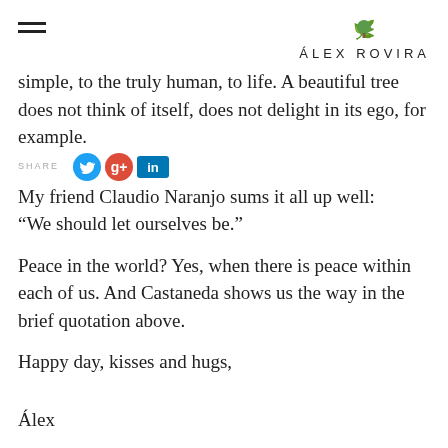ÁLEX ROVIRA
simple, to the truly human, to life. A beautiful tree does not think of itself, does not delight in its ego, for example.
My friend Claudio Naranjo sums it all up well: “We should let ourselves be.”
Peace in the world? Yes, when there is peace within each of us. And Castaneda shows us the way in the brief quotation above.
Happy day, kisses and hugs,
Álex